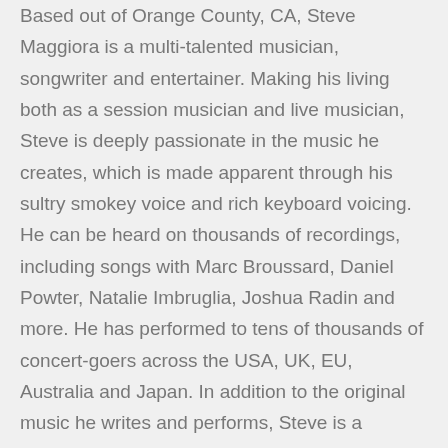Based out of Orange County, CA, Steve Maggiora is a multi-talented musician, songwriter and entertainer. Making his living both as a session musician and live musician, Steve is deeply passionate in the music he creates, which is made apparent through his sultry smokey voice and rich keyboard voicing. He can be heard on thousands of recordings, including songs with Marc Broussard, Daniel Powter, Natalie Imbruglia, Joshua Radin and more. He has performed to tens of thousands of concert-goers across the USA, UK, EU, Australia and Japan. In addition to the original music he writes and performs, Steve is a founding member of the ever-touring rock & roll outfit Robert Jon & The Wreck, and most recently the new keyboardist and backing vocalist for the legendary TOTO. He is constantly creating...